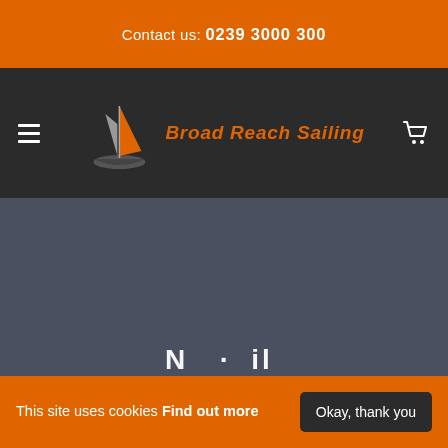Contact us: 0239 3000 300
[Figure (logo): Broad Reach Sailing logo: sailboat icon (orange and grey sails) with orange italic text 'Broad Reach Sailing' beside it, on a dark background. Hamburger menu icon on left, cart icon on right.]
[Figure (other): Dark blue-grey content area, mostly empty, with partial white bold text visible at bottom edge]
This site uses cookies Find out more
Okay, thank you